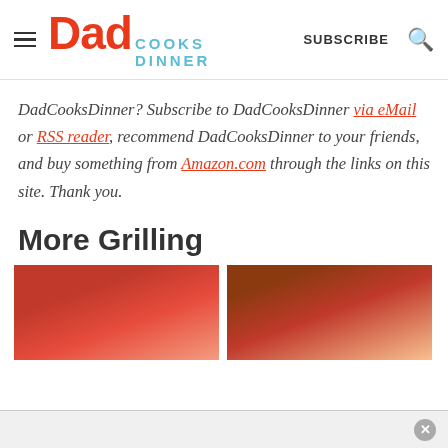Dad Cooks Dinner — SUBSCRIBE
DadCooksDinner? Subscribe to DadCooksDinner via eMail or RSS reader, recommend DadCooksDinner to your friends, and buy something from Amazon.com through the links on this site. Thank you.
More Grilling
[Figure (photo): Two food/grilling related photos side by side, partially visible at bottom of page.]